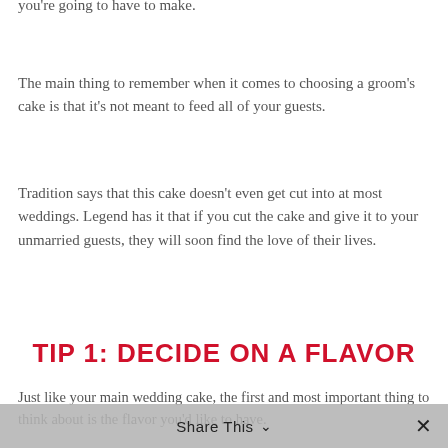you're going to have to make.
The main thing to remember when it comes to choosing a groom's cake is that it's not meant to feed all of your guests.
Tradition says that this cake doesn't even get cut into at most weddings. Legend has it that if you cut the cake and give it to your unmarried guests, they will soon find the love of their lives.
TIP 1: DECIDE ON A FLAVOR
Just like your main wedding cake, the first and most important thing to think about is the flavor you'd like to have.
If you intend to serve your groom's cake, this is an excellent opportunity to choose your second or third favorite flavor from your cake decorator.
Share This ∨  ✕